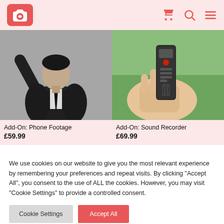[Figure (screenshot): Website header with pink/red heart camera logo on left, cart icon, search icon, and hamburger menu icon on right, pink background]
[Figure (photo): Black and white photo of a man in a suit raising his arm, representing the Phone Footage add-on]
Add-On: Phone Footage
£59.99
[Figure (photo): Color photo of a hand holding a Zoom H1n sound recorder against a green outdoor background]
Add-On: Sound Recorder
£69.99
We use cookies on our website to give you the most relevant experience by remembering your preferences and repeat visits. By clicking "Accept All", you consent to the use of ALL the cookies. However, you may visit "Cookie Settings" to provide a controlled consent.
Cookie Settings
Accept All